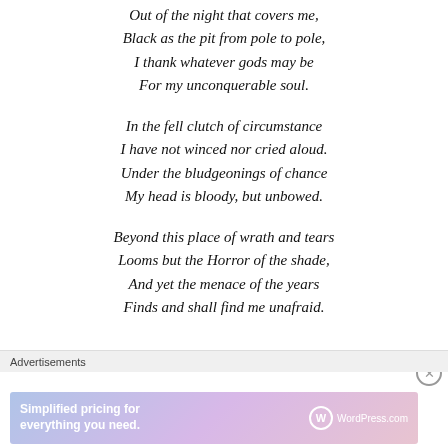Out of the night that covers me,
Black as the pit from pole to pole,
I thank whatever gods may be
For my unconquerable soul.

In the fell clutch of circumstance
I have not winced nor cried aloud.
Under the bludgeonings of chance
My head is bloody, but unbowed.

Beyond this place of wrath and tears
Looms but the Horror of the shade,
And yet the menace of the years
Finds and shall find me unafraid.
Advertisements
[Figure (other): WordPress.com advertisement banner: 'Simplified pricing for everything you need.' with WordPress.com logo on a gradient purple-pink background.]